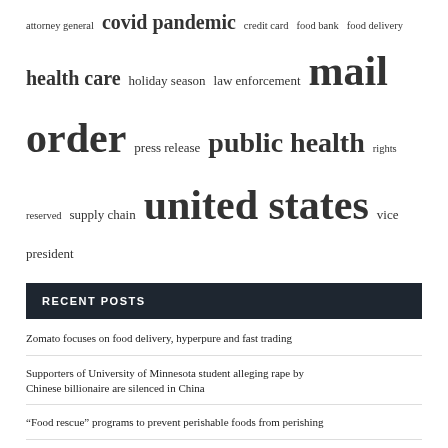attorney general  covid pandemic  credit card  food bank  food delivery  health care  holiday season  law enforcement  mail order  press release  public health  rights reserved  supply chain  united states  vice president
RECENT POSTS
Zomato focuses on food delivery, hyperpure and fast trading
Supporters of University of Minnesota student alleging rape by Chinese billionaire are silenced in China
“Food rescue” programs to prevent perishable foods from perishing
How to make an Academy credit card payment
Regular physical activity linked to reduced risk of COVID-19